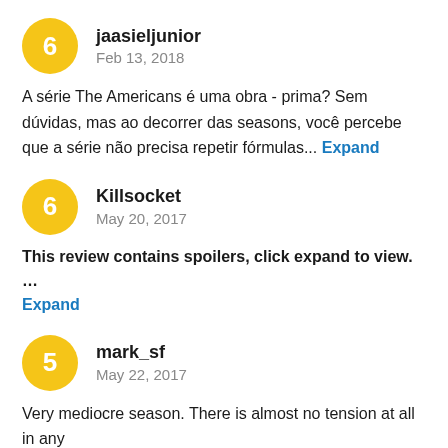[Figure (other): User avatar circle with score 6 for jaasieljunior]
jaasieljunior
Feb 13, 2018
A série The Americans é uma obra - prima? Sem dúvidas, mas ao decorrer das seasons, você percebe que a série não precisa repetir fórmulas... Expand
[Figure (other): User avatar circle with score 6 for Killsocket]
Killsocket
May 20, 2017
This review contains spoilers, click expand to view. ... Expand
[Figure (other): User avatar circle with score 5 for mark_sf]
mark_sf
May 22, 2017
Very mediocre season. There is almost no tension at all in any